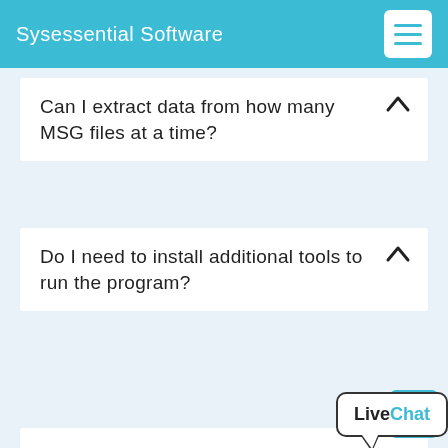Sysessential Software
Can I extract data from how many MSG files at a time?
Do I need to install additional tools to run the program?
How much time does the app take to extract data?
[Figure (illustration): LiveChat speech bubble widget with bold text 'LiveChat' where 'Live' is black and 'Chat' is cyan]
OUR PRESTIGIOUS CUSTOMERS
[Figure (logo): Partial circular logo at bottom left]
[Figure (logo): Partial circular logo at bottom right]